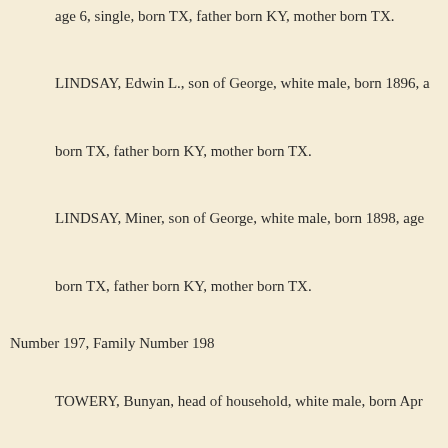age 6, single, born TX, father born KY, mother born TX.
LINDSAY, Edwin L., son of George, white male, born 1896, a...
born TX, father born KY, mother born TX.
LINDSAY, Miner, son of George, white male, born 1898, age...
born TX, father born KY, mother born TX.
Number 197, Family Number 198
TOWERY, Bunyan, head of household, white male, born Apr...
29, married 4 years, born AR, father born NC, mother born N...
can read, can write,can speak English, home owned, home...
farm schedule #172.
TOWERY, Mary E., wife of Bunyan, white female, born July...